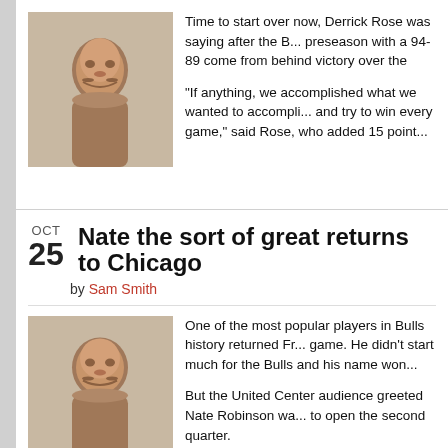Time to start over now, Derrick Rose was saying after the B... preseason with a 94-89 come from behind victory over the ...
“If anything, we accomplished what we wanted to accompli... and try to win every game,” said Rose, who added 15 point...
Nate the sort of great returns to Chicago
by Sam Smith
One of the most popular players in Bulls history returned Fr... game. He didn’t start much for the Bulls and his name won...
But the United Center audience greeted Nate Robinson wa... to open the second quarter.
“This is something special to me just because of the …